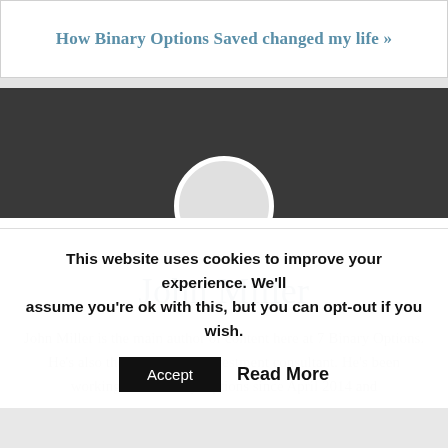How Binary Options Saved changed my life »
[Figure (photo): Dark banner header with circular profile photo placeholder (white circle outline on dark grey background)]
John Miller
John Miller is the main author of content here at 7 Binary Options. He's also the brand's lead investment consultant. He's been working for 7 Binary Options since April 2014 and
This website uses cookies to improve your experience. We'll assume you're ok with this, but you can opt-out if you wish.
Accept    Read More